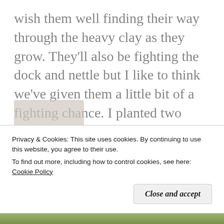wish them well finding their way through the heavy clay as they grow. They'll also be fighting the dock and nettle but I like to think we've given them a little bit of a fighting chance. I planted two rows of Maris Peer and two of King Edward. We … More
Privacy & Cookies: This site uses cookies. By continuing to use this website, you agree to their use.
To find out more, including how to control cookies, see here:
Cookie Policy
Close and accept
[Figure (photo): Partial outdoor photograph visible at bottom of page showing trees and vegetation]